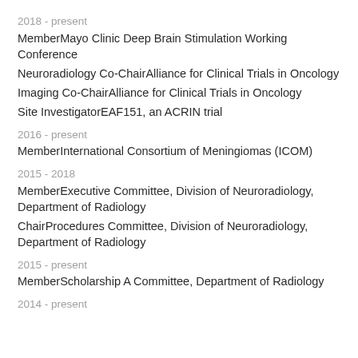2018 - present
MemberMayo Clinic Deep Brain Stimulation Working Conference
Neuroradiology Co-ChairAlliance for Clinical Trials in Oncology
Imaging Co-ChairAlliance for Clinical Trials in Oncology
Site InvestigatorEAF151, an ACRIN trial
2016 - present
MemberInternational Consortium of Meningiomas (ICOM)
2015 - 2018
MemberExecutive Committee, Division of Neuroradiology, Department of Radiology
ChairProcedures Committee, Division of Neuroradiology, Department of Radiology
2015 - present
MemberScholarship A Committee, Department of Radiology
2014 - present